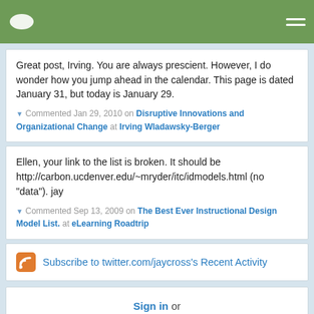Navigation bar with logo and menu
Great post, Irving. You are always prescient. However, I do wonder how you jump ahead in the calendar. This page is dated January 31, but today is January 29.
▼ Commented Jan 29, 2010 on Disruptive Innovations and Organizational Change at Irving Wladawsky-Berger
Ellen, your link to the list is broken. It should be http://carbon.ucdenver.edu/~mryder/itc/idmodels.html (no "data"). jay
▼ Commented Sep 13, 2009 on The Best Ever Instructional Design Model List. at eLearning Roadtrip
Subscribe to twitter.com/jaycross's Recent Activity
Sign in or register to follow
Following 0